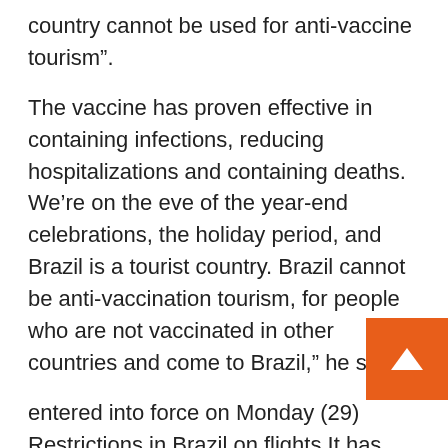country cannot be used for anti-vaccine tourism”.
The vaccine has proven effective in containing infections, reducing hospitalizations and containing deaths. We’re on the eve of the year-end celebrations, the holiday period, and Brazil is a tourist country. Brazil cannot be anti-vaccination tourism, for people who are not vaccinated in other countries and come to Brazil,” he said.
entered into force on Monday (29) Restrictions in Brazil on flights It has origin or transit through the Republic of South Africa, the Republic of Botswana, the Kingdom of Eswatini, the Kingdom of Lesotho, the Republic of Namibia and the Republic of Zimbabwe
The decision is based on the opinion of Anvisa recommending restrictions to contain the spread of the